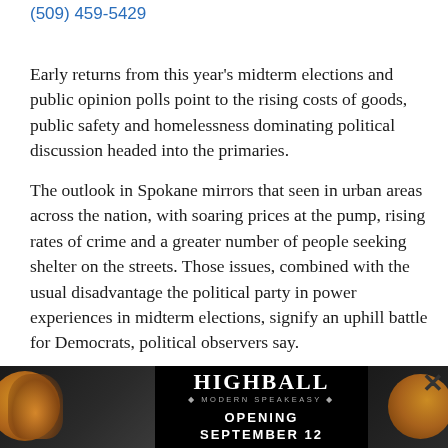(509) 459-5429
Early returns from this year’s midterm elections and public opinion polls point to the rising costs of goods, public safety and homelessness dominating political discussion headed into the primaries.
The outlook in Spokane mirrors that seen in urban areas across the nation, with soaring prices at the pump, rising rates of crime and a greater number of people seeking shelter on the streets. Those issues, combined with the usual disadvantage the political party in power experiences in midterm elections, signify an uphill battle for Democrats, political observers say.
“You g… econo… public
[Figure (advertisement): HIGHBALL Modern Speakeasy advertisement banner. Opening September 12. Dark background with orange orb/circle design elements.]